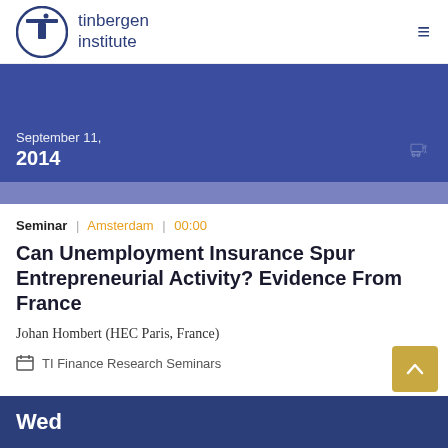[Figure (logo): Tinbergen Institute logo with circular TI icon and institute name in blue text]
September 11, 2014
Seminar | Amsterdam | 00:00
Can Unemployment Insurance Spur Entrepreneurial Activity? Evidence From France
Johan Hombert (HEC Paris, France)
TI Finance Research Seminars
Wed